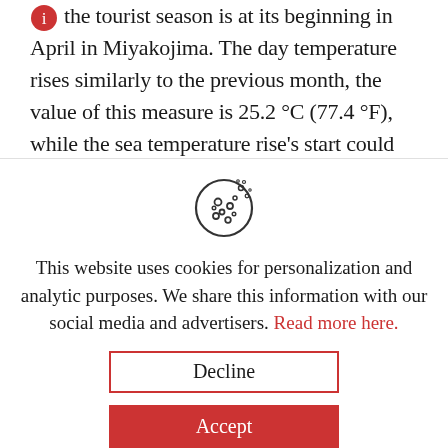the tourist season is at its beginning in April in Miyakojima. The day temperature rises similarly to the previous month, the value of this measure is 25.2 °C (77.4 °F), while the sea temperature rise's start could be observed in this month. The number of
[Figure (illustration): Cookie icon — a round cookie with dots representing chocolate chips]
This website uses cookies for personalization and analytic purposes. We share this information with our social media and advertisers. Read more here.
Decline
Accept